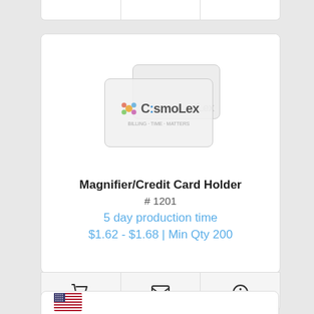[Figure (photo): Product image showing two overlapping credit card holders with CosmoLex logo printed on the front card]
Magnifier/Credit Card Holder
# 1201
5 day production time
$1.62 - $1.68 | Min Qty 200
[Figure (photo): US flag icon at bottom of page in partial card]